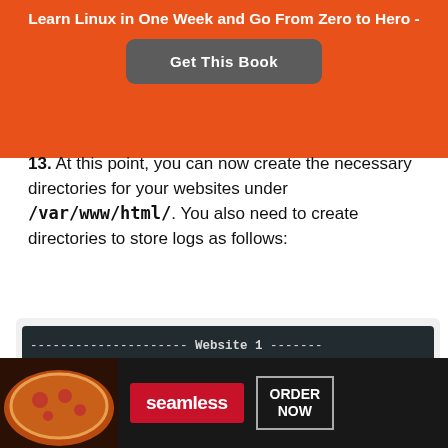Learn Linux in One Week and Go From Zero to Hero -
[Figure (other): Orange banner with 'Get This Book' button]
13. At this point, you can now create the necessary directories for your websites under /var/www/html/. You also need to create directories to store logs as follows:
[Figure (screenshot): Dark terminal code block showing: ------------------- Website 1 -------- # mkdir -p /var/www/html/example1.c # mkdir -p /var/log/nginx/example1]
[Figure (other): Seamless food ordering advertisement banner with pizza image]